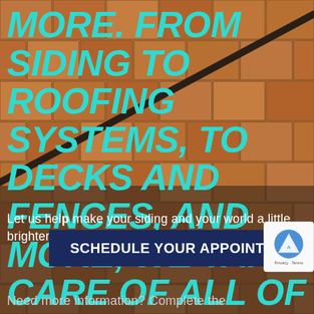[Figure (photo): Background photo of terracotta brick/tile paving with a dark cable or wire running diagonally across the image from upper-right to lower-left]
MORE. FROM SIDING TO ROOFING SYSTEMS, TO DECKS AND FENCES, AND MORE, WE TAKE CARE OF ALL OF IT.
Let us help make your siding and your world a little brighter!
SCHEDULE YOUR APPOINTMENT
Need more information? Complete the